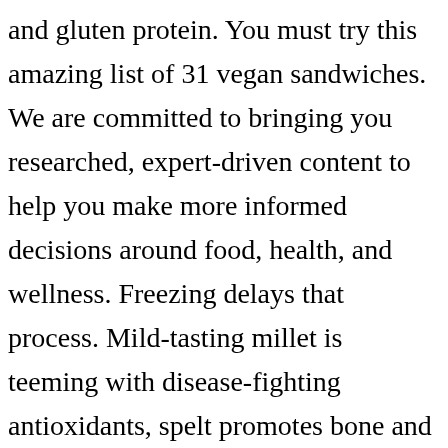and gluten protein. You must try this amazing list of 31 vegan sandwiches. We are committed to bringing you researched, expert-driven content to help you make more informed decisions around food, health, and wellness. Freezing delays that process. Mild-tasting millet is teeming with disease-fighting antioxidants, spelt promotes bone and tissue growth, and barley "acts as a bulking agent, which can help push waste through the digestive tract, regulating bowel movements," says Lisa Moskovitz, RD, CDN. Ezekiel bread is made from organic sprouted whole grains. Ezekiel 4:9...